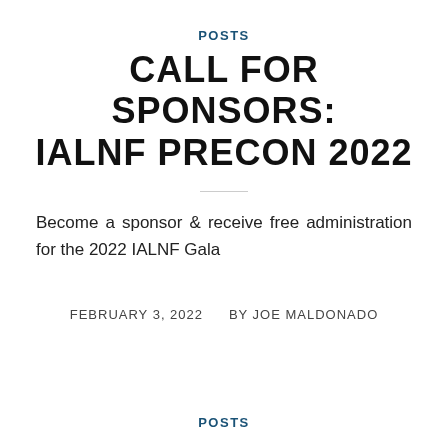POSTS
CALL FOR SPONSORS: IALNF PRECON 2022
Become a sponsor & receive free administration for the 2022 IALNF Gala
FEBRUARY 3, 2022    BY JOE MALDONADO
POSTS